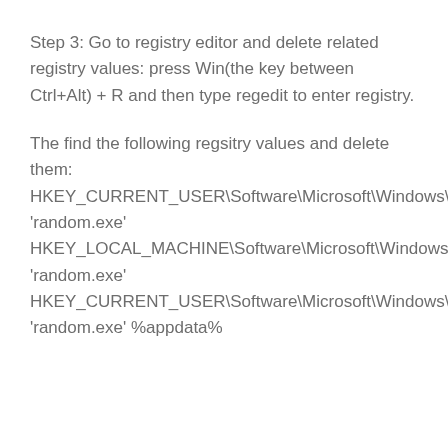Step 3: Go to registry editor and delete related registry values: press Win(the key between Ctrl+Alt) + R and then type regedit to enter registry.
The find the following regsitry values and delete them: HKEY_CURRENT_USER\Software\Microsoft\Windows\CurrentVersion\Run 'random.exe' HKEY_LOCAL_MACHINE\Software\Microsoft\Windows\CurrentVersion\Run 'random.exe' HKEY_CURRENT_USER\Software\Microsoft\Windows\CurrentVersion\RunOnce 'random.exe' %appdata%